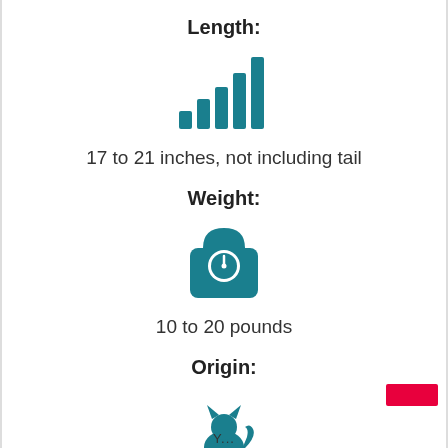Length:
[Figure (illustration): Teal bar chart icon showing signal/size bars increasing in height from left to right, representing a measurement range.]
17 to 21 inches, not including tail
Weight:
[Figure (illustration): Teal weighing scale icon (square with rounded top and dial face), representing weight measurement.]
10 to 20 pounds
Origin:
[Figure (illustration): Teal cat silhouette icon, representing animal origin.]